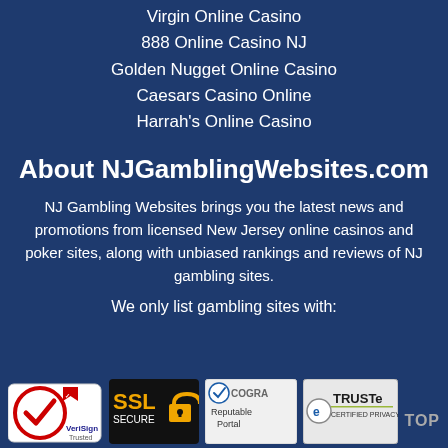Virgin Online Casino
888 Online Casino NJ
Golden Nugget Online Casino
Caesars Casino Online
Harrah's Online Casino
About NJGamblingWebsites.com
NJ Gambling Websites brings you the latest news and promotions from licensed New Jersey online casinos and poker sites, along with unbiased rankings and reviews of NJ gambling sites.
We only list gambling sites with:
[Figure (logo): Four trust/security badge logos: VeriSign Trusted, SSL Secure, eCOGRA Reputable Portal, TRUSTe Certified Privacy]